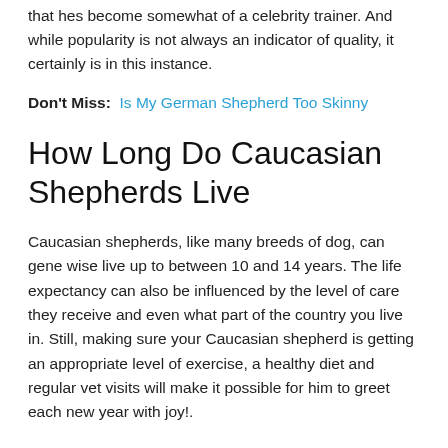that hes become somewhat of a celebrity trainer. And while popularity is not always an indicator of quality, it certainly is in this instance.
Don't Miss:  Is My German Shepherd Too Skinny
How Long Do Caucasian Shepherds Live
Caucasian shepherds, like many breeds of dog, can gene wise live up to between 10 and 14 years. The life expectancy can also be influenced by the level of care they receive and even what part of the country you live in. Still, making sure your Caucasian shepherd is getting an appropriate level of exercise, a healthy diet and regular vet visits will make it possible for him to greet each new year with joy!.